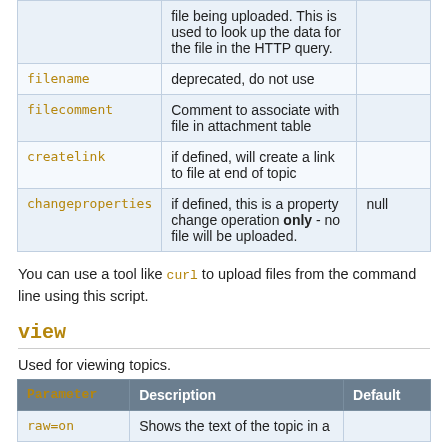|  |  |  |
| --- | --- | --- |
|  | file being uploaded. This is used to look up the data for the file in the HTTP query. |  |
| filename | deprecated, do not use |  |
| filecomment | Comment to associate with file in attachment table |  |
| createlink | if defined, will create a link to file at end of topic |  |
| changeproperties | if defined, this is a property change operation only - no file will be uploaded. | null |
You can use a tool like curl to upload files from the command line using this script.
view
Used for viewing topics.
| Parameter | Description | Default |
| --- | --- | --- |
| raw=on | Shows the text of the topic in a |  |